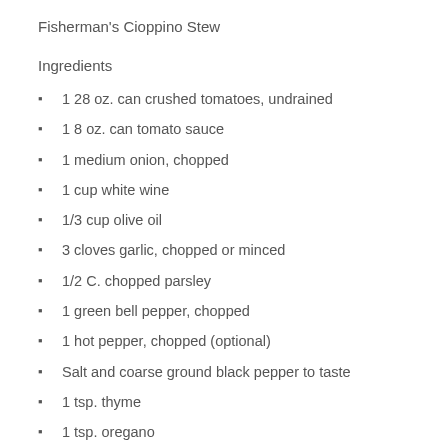Fisherman's Cioppino Stew
Ingredients
1 28 oz. can crushed tomatoes, undrained
1 8 oz. can tomato sauce
1 medium onion, chopped
1 cup white wine
1/3 cup olive oil
3 cloves garlic, chopped or minced
1/2 C. chopped parsley
1 green bell pepper, chopped
1 hot pepper, chopped (optional)
Salt and coarse ground black pepper to taste
1 tsp. thyme
1 tsp. oregano
1/2 tsp. paprika